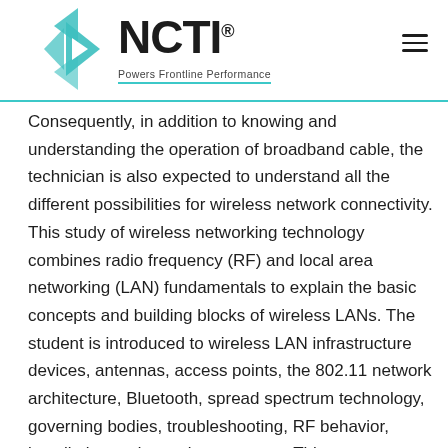NCTI. Powers Frontline Performance
Consequently, in addition to knowing and understanding the operation of broadband cable, the technician is also expected to understand all the different possibilities for wireless network connectivity. This study of wireless networking technology combines radio frequency (RF) and local area networking (LAN) fundamentals to explain the basic concepts and building blocks of wireless LANs. The student is introduced to wireless LAN infrastructure devices, antennas, access points, the 802.11 network architecture, Bluetooth, spread spectrum technology, governing bodies, troubleshooting, RF behavior, installation and security measures. This course targets both novice and experienced technicians who wish to gain a solid